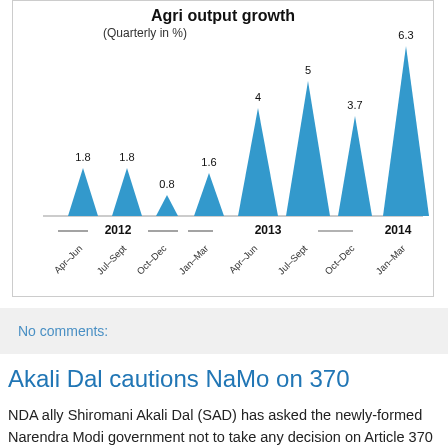[Figure (bar-chart): Agri output growth (Quarterly in %)]
No comments:
Akali Dal cautions NaMo on 370
NDA ally Shiromani Akali Dal (SAD) has asked the newly-formed Narendra Modi government not to take any decision on Article 370 in haste. SAD patron and Punjab CM Parkash Singh Badal said that abrogation of the article was a